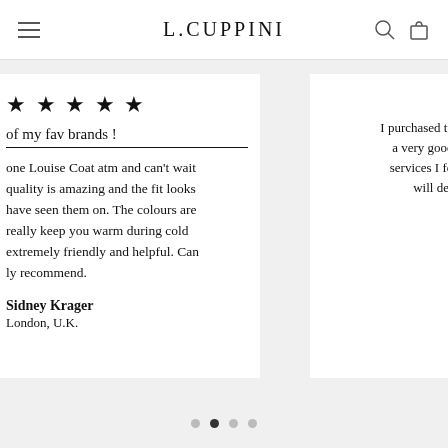L.CUPPINI
★ ★ ★ ★ ★
of my fav brands !
one Louise Coat atm and can't wait quality is amazing and the fit looks have seen them on. The colours are really keep you warm during cold extremely friendly and helpful. Can ly recommend.
Sidney Krager
London, U.K.
Ex
I purchased two Louise a very good quality c services I found them will definitely be
M